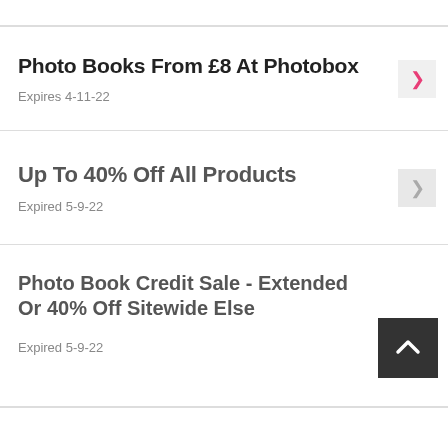Photo Books From £8 At Photobox
Expires 4-11-22
Up To 40% Off All Products
Expired 5-9-22
Photo Book Credit Sale - Extended Or 40% Off Sitewide Else
Expired 5-9-22